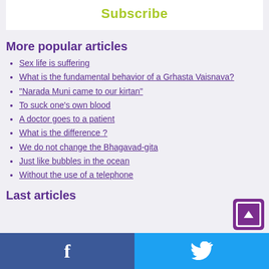Subscribe
More popular articles
Sex life is suffering
What is the fundamental behavior of a Grhasta Vaisnava?
"Narada Muni came to our kirtan"
To suck one's own blood
A doctor goes to a patient
What is the difference ?
We do not change the Bhagavad-gita
Just like bubbles in the ocean
Without the use of a telephone
Last articles
Facebook | Twitter